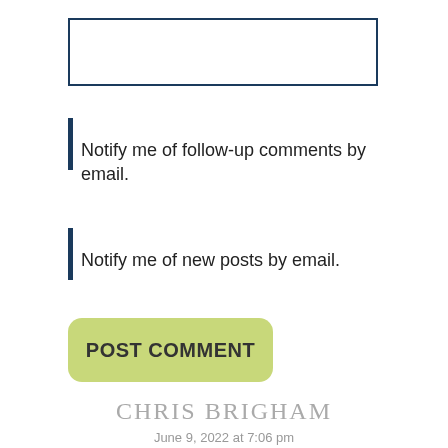[Figure (other): Empty text input field with dark blue border]
Notify me of follow-up comments by email.
Notify me of new posts by email.
POST COMMENT
CHRIS BRIGHAM
June 9, 2022 at 7:06 pm